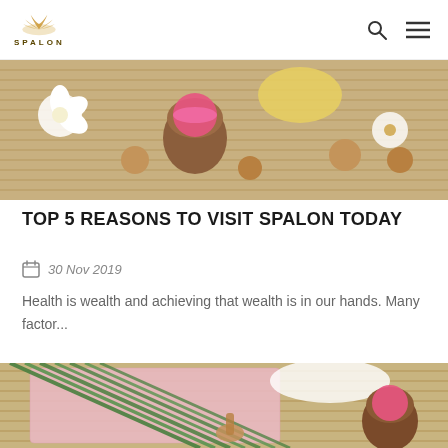SPALON
[Figure (photo): Top-down spa flatlay with pink candle in clay pot, white flowers, wooden balls, and yellow soap on bamboo mat background]
TOP 5 REASONS TO VISIT SPALON TODAY
30 Nov 2019
Health is wealth and achieving that wealth is in our hands. Many factor...
[Figure (photo): Spa flatlay with green bamboo sticks, pink towel, wooden honey dipper, pink lit candle in clay pot on bamboo mat background]